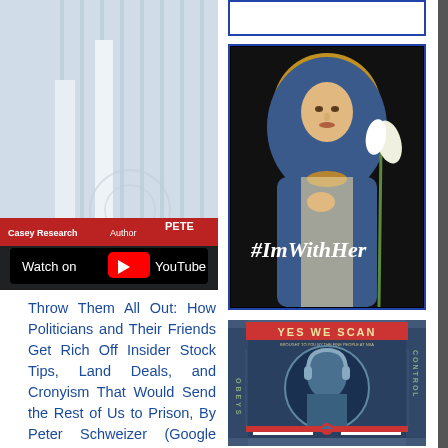[Figure (screenshot): YouTube video thumbnail showing Casey Research video with 'Watch on YouTube' overlay button, indoor blinds background]
Throw Them All Out: How Politicians and Their Friends Get Rich Off Insider Stock Tips, Land Deals, and Cronyism That Would Send the Rest of Us to Prison, By Peter Schweizer (Google Books)
[Figure (photo): Empty blue-bordered rectangle at top right]
[Figure (illustration): Religious painting of Virgin Mary with halo and lily flower, overlaid with text '#ImWithHer' in white]
[Figure (illustration): Obama 'Hope' style poster parody with text 'YES WE SCAN' at top and 'OBEYS' and 'CONTROL' on sides, showing Obama with headphones in red/blue/grey color scheme]